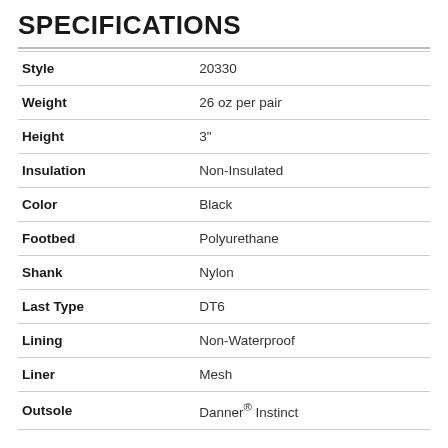SPECIFICATIONS
| Attribute | Value |
| --- | --- |
| Style | 20330 |
| Weight | 26 oz per pair |
| Height | 3" |
| Insulation | Non-Insulated |
| Color | Black |
| Footbed | Polyurethane |
| Shank | Nylon |
| Last Type | DT6 |
| Lining | Non-Waterproof |
| Liner | Mesh |
| Outsole | Danner® Instinct |